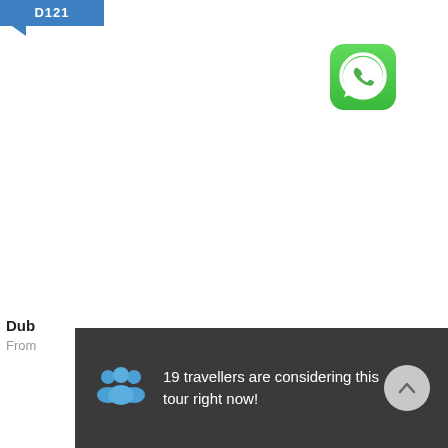[Figure (logo): Blue speech bubble / tag label reading 'D121' in white bold text, with a small triangle pointer at bottom-left]
[Figure (logo): WhatsApp app icon: green rounded square background with white speech bubble phone icon]
Dub
From
19 travellers are considering this tour right now!